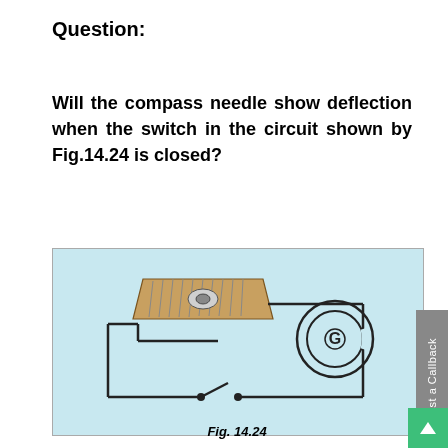Question:
Will the compass needle show deflection when the switch in the circuit shown by Fig.14.24 is closed?
[Figure (illustration): Circuit diagram (Fig. 14.24) showing a coil/solenoid connected to a galvanometer/compass device and an open switch, all wired in a rectangular circuit on a light blue background.]
Fig. 14.24